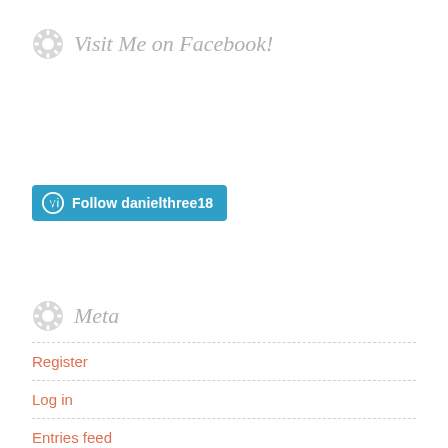Visit Me on Facebook!
[Figure (other): WordPress Follow button with WordPress logo, teal background, text 'Follow danielthree18']
Meta
Register
Log in
Entries feed
Comments feed
WordPress.com